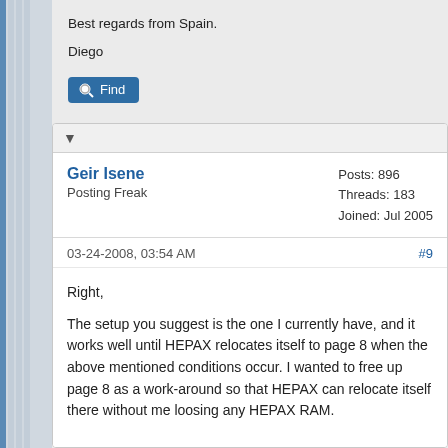Best regards from Spain.

Diego
[Figure (other): Find button with magnifying glass icon]
▼
Geir Isene
Posting Freak
Posts: 896
Threads: 183
Joined: Jul 2005
03-24-2008, 03:54 AM
#9
Right,

The setup you suggest is the one I currently have, and it works well until HEPAX relocates itself to page 8 when the above mentioned conditions occur. I wanted to free up page 8 as a work-around so that HEPAX can relocate itself there without me loosing any HEPAX RAM.